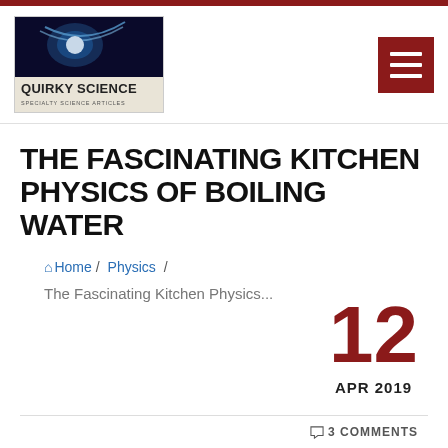[Figure (logo): Quirky Science logo with space/comet image and text 'QUIRKY SCIENCE SPECIALTY SCIENCE ARTICLES']
[Figure (other): Hamburger menu button in dark red/maroon]
THE FASCINATING KITCHEN PHYSICS OF BOILING WATER
Home / Physics /
The Fascinating Kitchen Physics...
12
APR 2019
3 COMMENTS